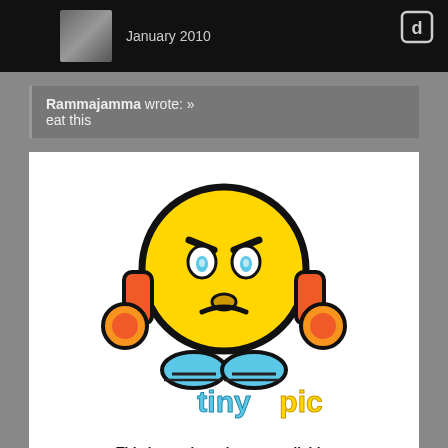January 2010
Rammajamma wrote: »
eat this
[Figure (illustration): Tinypic placeholder image showing an angry yellow emoji face with headphones and blue feet, with the tinypic logo and text 'This image is no longer available. Visit tinypic.com for more information.']